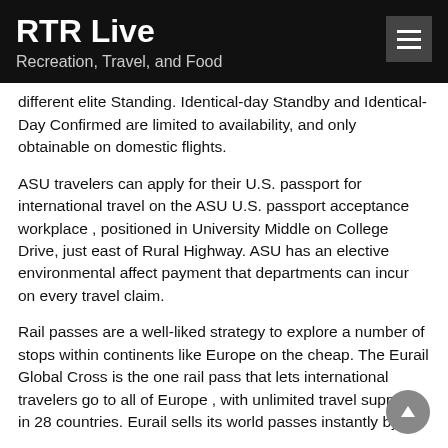RTR Live
Recreation, Travel, and Food
different elite Standing. Identical-day Standby and Identical-Day Confirmed are limited to availability, and only obtainable on domestic flights.
ASU travelers can apply for their U.S. passport for international travel on the ASU U.S. passport acceptance workplace , positioned in University Middle on College Drive, just east of Rural Highway. ASU has an elective environmental affect payment that departments can incur on every travel claim.
Rail passes are a well-liked strategy to explore a number of stops within continents like Europe on the cheap. The Eurail Global Cross is the one rail pass that lets international travelers go to all of Europe , with unlimited travel supplied in 28 countries. Eurail sells its world passes instantly by